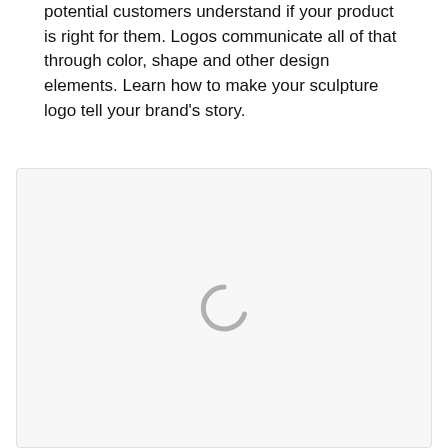potential customers understand if your product is right for them. Logos communicate all of that through color, shape and other design elements. Learn how to make your sculpture logo tell your brand's story.
[Figure (other): A loading spinner icon (partial circle/arc in gray) centered inside a light gray rounded rectangle box, indicating content is still loading.]